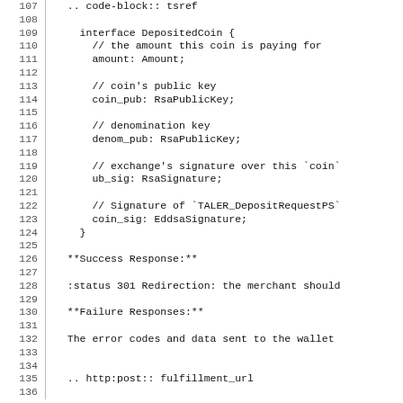107  .. code-block:: tsref
108
109    interface DepositedCoin {
110      // the amount this coin is paying for
111      amount: Amount;
112
113      // coin's public key
114      coin_pub: RsaPublicKey;
115
116      // denomination key
117      denom_pub: RsaPublicKey;
118
119      // exchange's signature over this `coin`
120      ub_sig: RsaSignature;
121
122      // Signature of `TALER_DepositRequestPS`
123      coin_sig: EddsaSignature;
124    }
125
126  **Success Response:**
127
128  :status 301 Redirection: the merchant should
129
130  **Failure Responses:**
131
132  The error codes and data sent to the wallet
133
134
135  .. http:post:: fulfillment_url
136